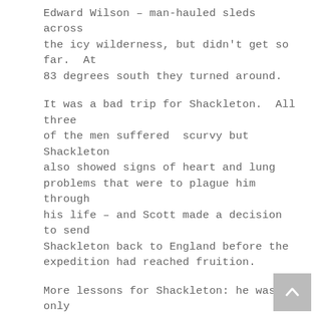Edward Wilson – man-hauled sleds across the icy wilderness, but didn't get so far.  At 83 degrees south they turned around.
It was a bad trip for Shackleton.  All three of the men suffered  scurvy but Shackleton also showed signs of heart and lung problems that were to plague him through his life – and Scott made a decision to send Shackleton back to England before the expedition had reached fruition.
More lessons for Shackleton: he was only human and super competitive!  He wouldn't be travelling with Scott again.  And perhaps, too, as an outsider – the boy with an Irish lilt in a smart London school – he discovered what he didn't want to be.
he didn't want to be overly controlling, rather give his men responsibility and a measure of independence